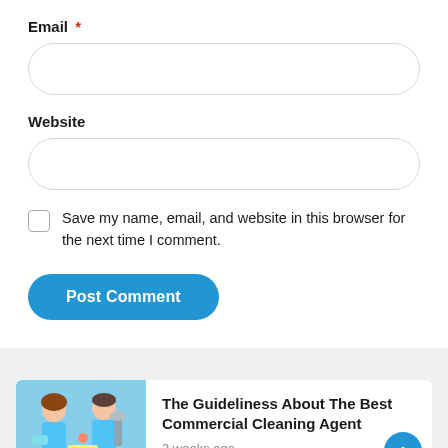Email *
[Figure (other): Email input text field with rounded border]
Website
[Figure (other): Website input text field with rounded border]
Save my name, email, and website in this browser for the next time I comment.
Post Comment
The Guideliness About The Best Commercial Cleaning Agent
2 weeks ago